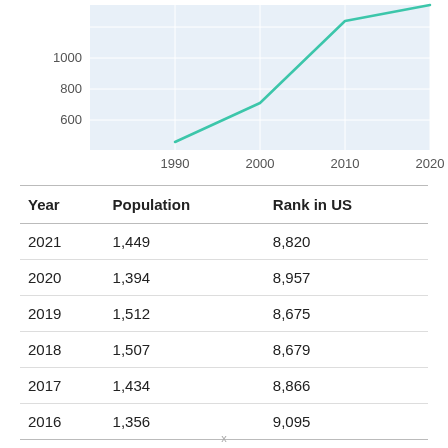[Figure (line-chart): ]
| Year | Population | Rank in US |
| --- | --- | --- |
| 2021 | 1,449 | 8,820 |
| 2020 | 1,394 | 8,957 |
| 2019 | 1,512 | 8,675 |
| 2018 | 1,507 | 8,679 |
| 2017 | 1,434 | 8,866 |
| 2016 | 1,356 | 9,095 |